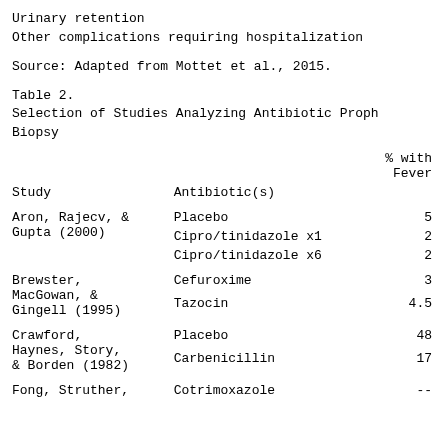Urinary retention
Other complications requiring hospitalization
Source: Adapted from Mottet et al., 2015.
Table 2.
Selection of Studies Analyzing Antibiotic Prophylaxis Before Prostate Biopsy
| Study | Antibiotic(s) | % with Fever |
| --- | --- | --- |
| Aron, Rajecv, &
Gupta (2000) | Placebo
Cipro/tinidazole x1
Cipro/tinidazole x6 | 5
2
2 |
| Brewster,
MacGowan, &
Gingell (1995) | Cefuroxime
Tazocin | 3
4.5 |
| Crawford,
Haynes, Story,
& Borden (1982) | Placebo
Carbenicillin | 48
17 |
| Fong, Struther, | Cotrimoxazole | -- |